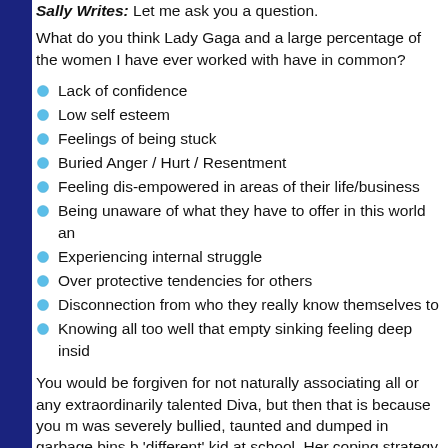Sally Writes: Let me ask you a question.
What do you think Lady Gaga and a large percentage of the women I have ever worked with have in common?
Lack of confidence
Low self esteem
Feelings of being stuck
Buried Anger / Hurt / Resentment
Feeling dis-empowered in areas of their life/business
Being unaware of what they have to offer in this world an...
Experiencing internal struggle
Over protective tendencies for others
Disconnection from who they really know themselves to...
Knowing all too well that empty sinking feeling deep insid...
You would be forgiven for not naturally associating all or any... extraordinarily talented Diva, but then that is because you m... was severely bullied, taunted and dumped in garbage bins b... 'different' kid at school. Her coping strategy was to regularly...